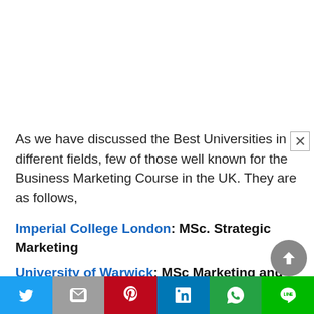As we have discussed the Best Universities in different fields, few of those well known for the Business Marketing Course in the UK. They are as follows,
Imperial College London: MSc. Strategic Marketing
University of Warwick: MSc Marketing and strategy
University of Manchester: MSc Marketing